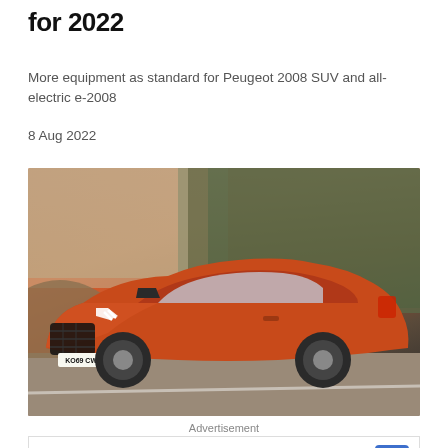for 2022
More equipment as standard for Peugeot 2008 SUV and all-electric e-2008
8 Aug 2022
[Figure (photo): Orange Peugeot 2008 SUV (registration KO69 CWM) driving on a road with trees in the background]
Advertisement
[Figure (infographic): Walgreens Photo advertisement: Mix and Match Beauty Products with Walgreens Photo logo and blue arrow icon]